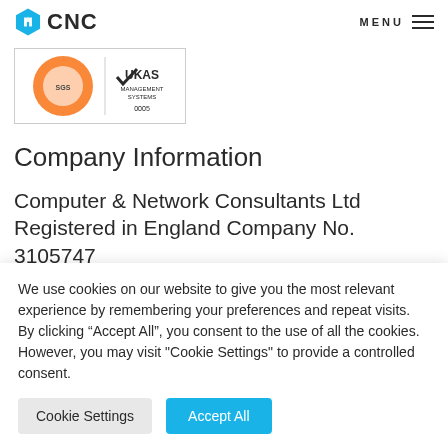CNC — MENU
[Figure (logo): SGS UKAS Management Systems ISO certification badge with orange and grey elements, number 0005]
Company Information
Computer & Network Consultants Ltd
Registered in England Company No. 3105747
We use cookies on our website to give you the most relevant experience by remembering your preferences and repeat visits. By clicking “Accept All”, you consent to the use of all the cookies. However, you may visit "Cookie Settings" to provide a controlled consent.
Cookie Settings    Accept All